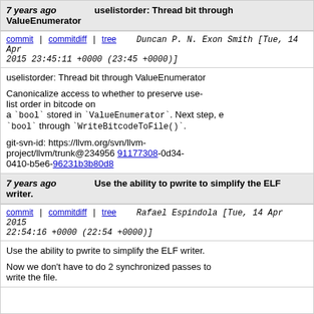7 years ago   uselistorder: Thread bit through ValueEnumerator
commit | commitdiff | tree   Duncan P. N. Exon Smith [Tue, 14 Apr 2015 23:45:11 +0000 (23:45 +0000)]
uselistorder: Thread bit through ValueEnumerator

Canonicalize access to whether to preserve use-list order in bitcode on
a `bool` stored in `ValueEnumerator`. Next step, e... `bool` through `WriteBitcodeToFile()`.

git-svn-id: https://llvm.org/svn/llvm-project/llvm/trunk@234956 91177308-0d34-0410-b5e6-96231b3b80d8
7 years ago   Use the ability to pwrite to simplify the ELF writer.
commit | commitdiff | tree   Rafael Espindola [Tue, 14 Apr 2015 22:54:16 +0000 (22:54 +0000)]
Use the ability to pwrite to simplify the ELF writer.

Now we don't have to do 2 synchronized passes to write the file.